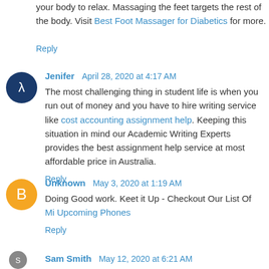your body to relax. Massaging the feet targets the rest of the body. Visit Best Foot Massager for Diabetics for more.
Reply
Jenifer  April 28, 2020 at 4:17 AM
The most challenging thing in student life is when you run out of money and you have to hire writing service like cost accounting assignment help. Keeping this situation in mind our Academic Writing Experts provides the best assignment help service at most affordable price in Australia.
Reply
Unknown  May 3, 2020 at 1:19 AM
Doing Good work. Keet it Up - Checkout Our List Of
Mi Upcoming Phones
Reply
Sam Smith  May 12, 2020 at 6:21 AM